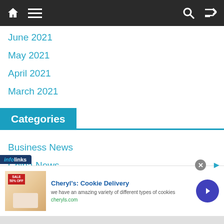Navigation bar with home, menu, search, and shuffle icons
June 2021
May 2021
April 2021
March 2021
Categories
Business News
China News
[Figure (screenshot): Advertisement overlay from Infolinks showing Cheryl's Cookie Delivery ad with cookie image, title, description, and arrow button]